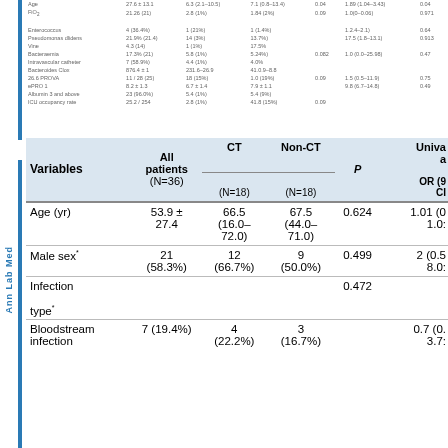| Variables | All patients (N=36) | CT (N=18) | Non-CT (N=18) | P | Univariate analysis OR (95% CI) |
| --- | --- | --- | --- | --- | --- |
| Age (yr) | 53.9 ± 27.4 | 66.5 (16.0–72.0) | 67.5 (44.0–71.0) | 0.624 | 1.01 (0...1.0...) |
| Male sex* | 21 (58.3%) | 12 (66.7%) | 9 (50.0%) | 0.499 | 2 (0.5...8.0...) |
| Infection type* |  |  |  | 0.472 |  |
| Bloodstream infection | 7 (19.4%) | 4 (22.2%) | 3 (16.7%) |  | 0.7 (0....3.7...) |
Ann Lab Med